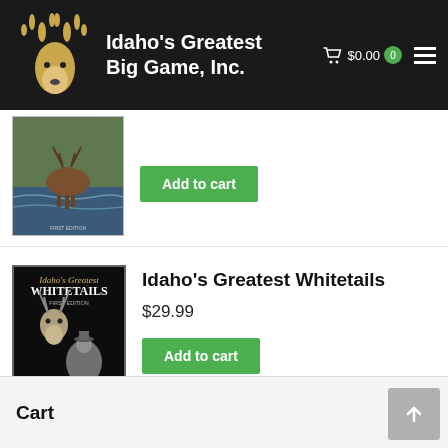Idaho's Greatest Big Game, Inc. — Cart $0.00 0
[Figure (photo): Partially visible book cover with wildlife painting of elk in water scene]
Add to cart
Idaho's Greatest Whitetails
$29.99
Add to cart
[Figure (photo): Book cover for Idaho's Greatest Whitetails by Ryan Hatfield, black cover with deer trophy and hunter illustration]
Cart